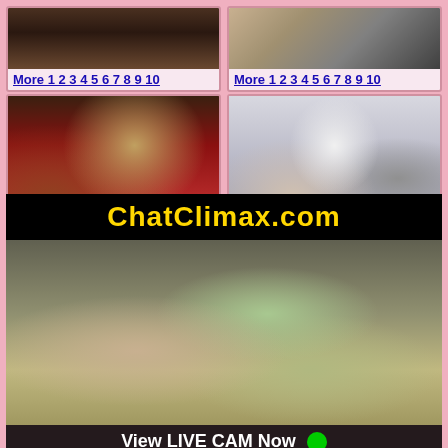[Figure (photo): Adult content website screenshot showing thumbnail images with pagination links, an advertisement overlay for ChatClimax.com, a live cam section, and a female profile status bar.]
More 1 2 3 4 5 6 7 8 9 10
More 1 2 3 4 5 6 7 8 9 10
More 1 2 3 4 5
ChatClimax.com
View LIVE CAM Now
Female, 20
ONLINE NOW